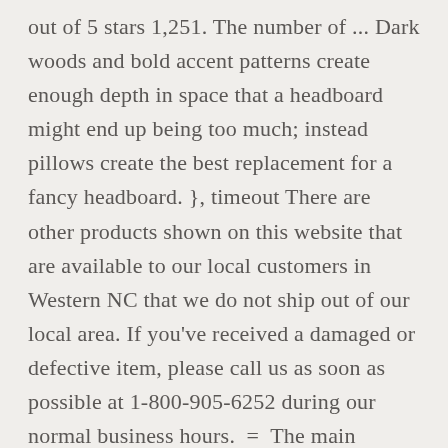out of 5 stars 1,251. The number of ... Dark woods and bold accent patterns create enough depth in space that a headboard might end up being too much; instead pillows create the best replacement for a fancy headboard. }, timeout There are other products shown on this website that are available to our local customers in Western NC that we do not ship out of our local area. If you've received a damaged or defective item, please call us as soon as possible at 1-800-905-6252 during our normal business hours.  =  The main reason customers want to return an item is because of accidentally ordering the wrong size. We will call you back. The length of a queen size bed frame ranges from 70-90 inches long.